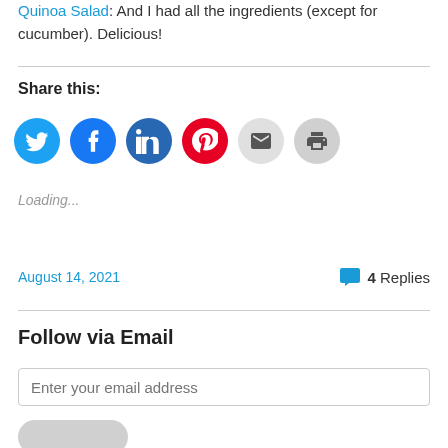Quinoa Salad: And I had all the ingredients (except for cucumber). Delicious!
Share this:
[Figure (infographic): Social share buttons: Twitter (blue), Facebook (blue), LinkedIn (blue), Pinterest (red), Email (gray), Print (gray)]
Loading...
August 14, 2021   4 Replies
Follow via Email
Enter your email address